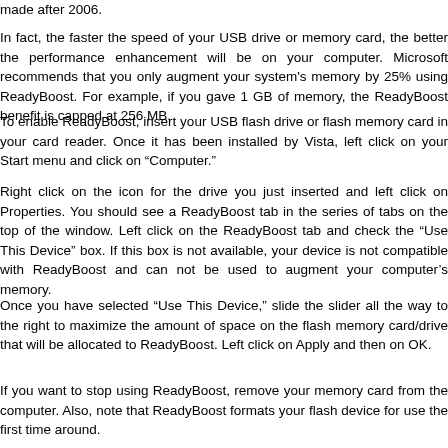made after 2006.
In fact, the faster the speed of your USB drive or memory card, the better the performance enhancement will be on your computer. Microsoft recommends that you only augment your system's memory by 25% using ReadyBoost. For example, if you gave 1 GB of memory, the ReadyBoost benefit is capped at 256 MB.
To enable ReadyBoost, insert your USB flash drive or flash memory card in your card reader. Once it has been installed by Vista, left click on your Start menu and click on “Computer.”
Right click on the icon for the drive you just inserted and left click on Properties. You should see a ReadyBoost tab in the series of tabs on the top of the window. Left click on the ReadyBoost tab and check the “Use This Device” box. If this box is not available, your device is not compatible with ReadyBoost and can not be used to augment your computer’s memory.
Once you have selected “Use This Device,” slide the slider all the way to the right to maximize the amount of space on the flash memory card/drive that will be allocated to ReadyBoost. Left click on Apply and then on OK.
If you want to stop using ReadyBoost, remove your memory card from the computer. Also, note that ReadyBoost formats your flash device for use the first time around.